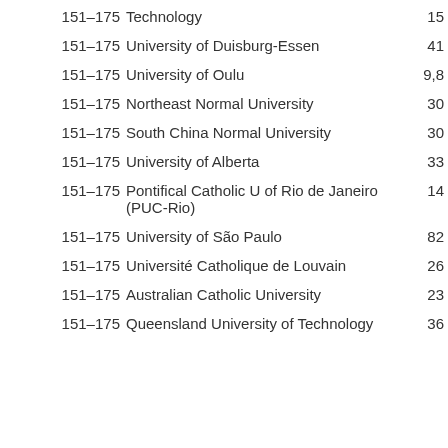| Rank | Institution | Score |
| --- | --- | --- |
| 151–175 | Technology | 15 |
| 151–175 | University of Duisburg-Essen | 41 |
| 151–175 | University of Oulu | 9,8 |
| 151–175 | Northeast Normal University | 30 |
| 151–175 | South China Normal University | 30 |
| 151–175 | University of Alberta | 33 |
| 151–175 | Pontifical Catholic U of Rio de Janeiro (PUC-Rio) | 14 |
| 151–175 | University of São Paulo | 82 |
| 151–175 | Université Catholique de Louvain | 26 |
| 151–175 | Australian Catholic University | 23 |
| 151–175 | Queensland University of Technology | 36 |